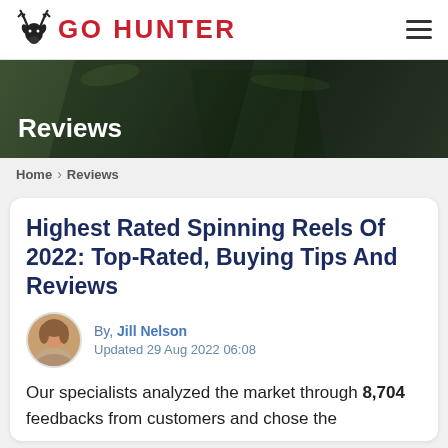GO HUNTER
[Figure (photo): Dark outdoor/nature hero banner with green foliage background]
Reviews
Home > Reviews
Highest Rated Spinning Reels Of 2022: Top-Rated, Buying Tips And Reviews
By, Jill Nelson
Updated 29 Aug 2022 06:08
Our specialists analyzed the market through 8,704 feedbacks from customers and chose the